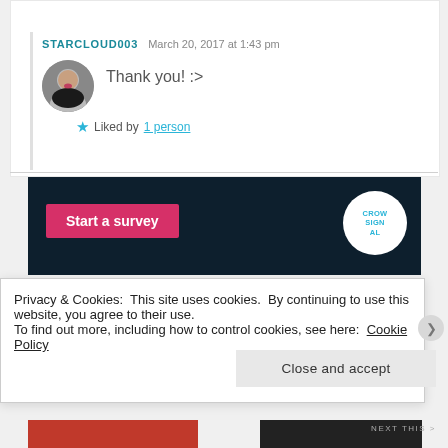★ Like
STARCLOUD003  March 20, 2017 at 1:43 pm
[Figure (photo): Circular avatar photo of a person with dark hair wearing a black top, smiling with an open mouth.]
Thank you! :>
★ Liked by 1 person
[Figure (screenshot): Dark navy background survey banner with a pink 'Start a survey' button and a CrowdSignal logo circle on the right.]
Privacy & Cookies: This site uses cookies. By continuing to use this website, you agree to their use.
To find out more, including how to control cookies, see here: Cookie Policy
Close and accept